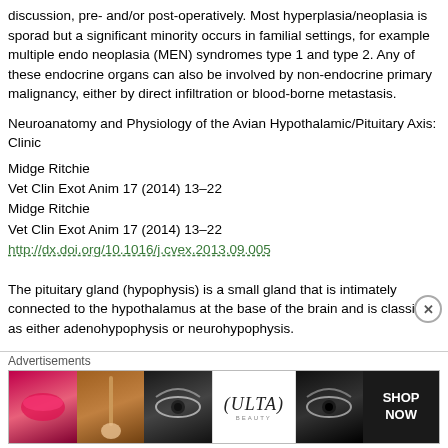discussion, pre- and/or post-operatively. Most hyperplasia/neoplasia is sporadic, but a significant minority occurs in familial settings, for example multiple endocrine neoplasia (MEN) syndromes type 1 and type 2. Any of these endocrine organs can also be involved by non-endocrine primary malignancy, either by direct infiltration or blood-borne metastasis.
Neuroanatomy and Physiology of the Avian Hypothalamic/Pituitary Axis: Clinic...
Midge Ritchie
Vet Clin Exot Anim 17 (2014) 13–22
http://dx.doi.org/10.1016/j.cvex.2013.09.005
The pituitary gland (hypophysis) is a small gland that is intimately connected to the hypothalamus at the base of the brain and is classified as either adenohypophysis or neurohypophysis.
The avian thyroid glands are paired glands located ventrolaterally to the trachea. The histology of the avian thyroids is the same as in mammals: organized into follicles filled with colloid and lined with cuboidal epithelial cells that secrete into the interior of the follicles.
Adrenal lesions in birds have been described postmortem only. Antemortem...
[Figure (other): Advertisement banner for ULTA Beauty showing close-up photos of lips with makeup, a makeup brush, eye with dramatic makeup, ULTA logo, another eye close-up, and SHOP NOW text on dark background. A close button (X) appears in the top right.]